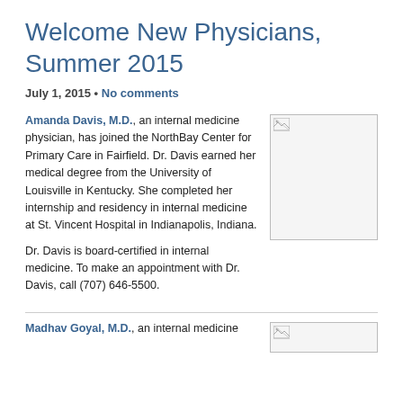Welcome New Physicians, Summer 2015
July 1, 2015 • No comments
Amanda Davis, M.D., an internal medicine physician, has joined the NorthBay Center for Primary Care in Fairfield. Dr. Davis earned her medical degree from the University of Louisville in Kentucky. She completed her internship and residency in internal medicine at St. Vincent Hospital in Indianapolis, Indiana.

Dr. Davis is board-certified in internal medicine. To make an appointment with Dr. Davis, call (707) 646-5500.
[Figure (photo): Photo of Dr. Amanda Davis (broken image placeholder)]
Madhav Goyal, M.D., an internal medicine